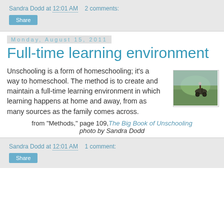Sandra Dodd at 12:01 AM   2 comments:
Share
Monday, August 15, 2011
Full-time learning environment
Unschooling is a form of homeschooling; it's a way to homeschool. The method is to create and maintain a full-time learning environment in which learning happens at home and away, from as many sources as the family comes across.
[Figure (photo): Outdoor photo showing a person with a bicycle or horse in a green field]
from "Methods," page 109, The Big Book of Unschooling
photo by Sandra Dodd
Sandra Dodd at 12:01 AM   1 comment:
Share